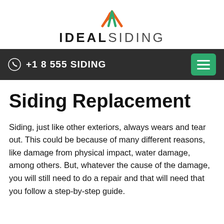[Figure (logo): Ideal Siding logo with orange and green chevron/roof icon above the text IDEALSIDING]
+1 8 555 SIDING
Siding Replacement
Siding, just like other exteriors, always wears and tear out. This could be because of many different reasons, like damage from physical impact, water damage, among others. But, whatever the cause of the damage, you will still need to do a repair and that will need that you follow a step-by-step guide.